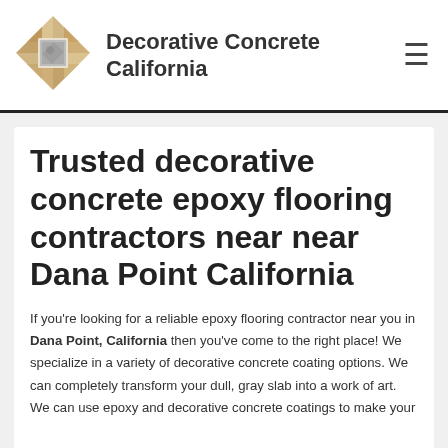Decorative Concrete California
Trusted decorative concrete epoxy flooring contractors near near Dana Point California
If you're looking for a reliable epoxy flooring contractor near you in Dana Point, California then you've come to the right place! We specialize in a variety of decorative concrete coating options. We can completely transform your dull, gray slab into a work of art. We can use epoxy and decorative concrete coatings to make your